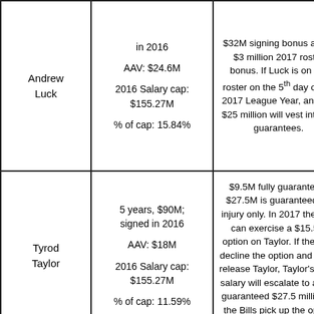| Player | Contract Details | Guarantee Notes |
| --- | --- | --- |
| Andrew Luck | in 2016
AAV: $24.6M
2016 Salary cap: $155.27M
% of cap: 15.84% | $32M signing bonus and a $3 million 2017 roster bonus. If Luck is on the roster on the 5th day of the 2017 League Year, another $25 million will vest into full guarantees. |
| Tyrod Taylor | 5 years, $90M; signed in 2016
AAV: $18M
2016 Salary cap: $155.27M
% of cap: 11.59% | $9.5M fully guaranteed; $27.5M is guaranteed for injury only. In 2017 the Bills can exercise a $15.5M option on Taylor. If the Bills decline the option and fail to release Taylor, Taylor's 2017 salary will escalate to a fully guaranteed $27.5 million. If the Bills pick up the option an additional |